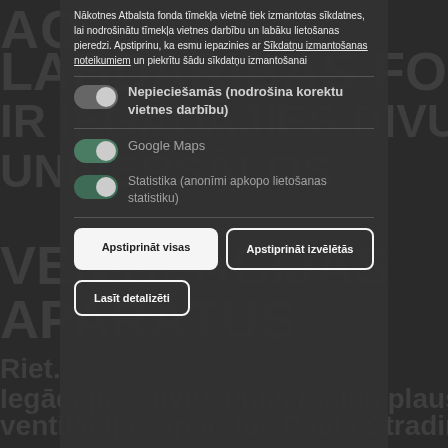[Figure (screenshot): Cookie consent modal overlay on a dark website background. Background shows large bold Latvian text about a charity fund ventilation devices donation. The modal contains a cookie consent notice in Latvian with toggle switches for necessary cookies, Google Maps, and statistics, plus three buttons: Apstiprināt visas, Apstiprināt izvēlētās, and Lasīt detalizēti.]
Nākotnes Atbalsta fonda tīmekļa vietnē tiek izmantotas sīkdatnes, lai nodrošinātu tīmekļa vietnes darbību un labāku lietošanas pieredzi. Apstiprinu, ka esmu iepazinies ar Sīkdatņu izmantošanas noteikumiem un piekrītu šādu sīkdatņu izmantošanai
Nepieciešamās (nodrošina korektu vietnes darbību)
Google Maps
Statistika (anonīmi apkopo lietošanas statistiku)
Apstiprināt visas
Apstiprināt izvēlētās
Lasīt detalizēti